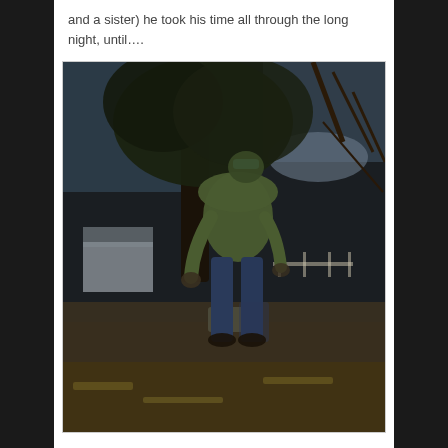and a sister) he took his time all through the long night, until….
[Figure (photo): A person wearing a green hoodie and blue jeans, viewed from behind, walking or standing on dry grass near a large tree. Farm buildings and bare trees are visible in the background under a dim, dusky sky.]